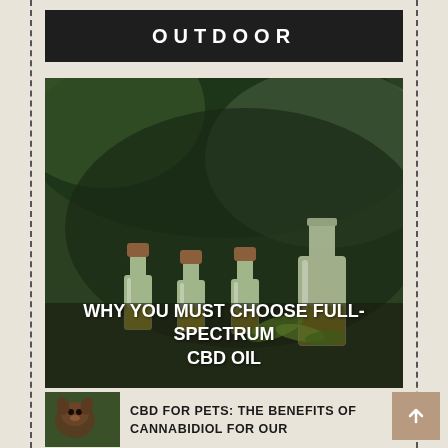OUTDOOR
[Figure (photo): Four small glass bottles with cork stoppers containing golden/yellow CBD oil, arranged on a dark surface with blurred green foliage background. Title overlay reads WHY YOU MUST CHOOSE FULL-SPECTRUM CBD OIL]
WHY YOU MUST CHOOSE FULL-SPECTRUM CBD OIL
[Figure (photo): Small thumbnail photo of a dog or pet with green background]
CBD FOR PETS: THE BENEFITS OF CANNABIDIOL FOR OUR